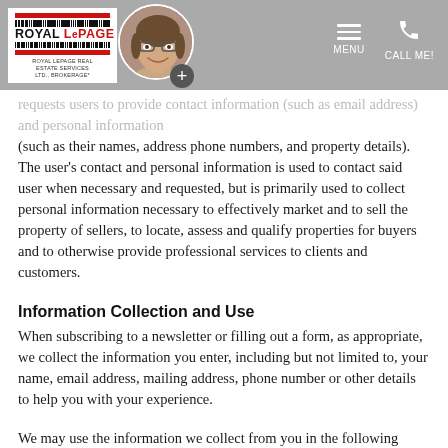Royal LePage Real Estate Services Ltd., Brokerage — MENU | CALL ME!
requests users to provide contact information (such as email address) and personal information (such as their names, address phone numbers, and property details). The user's contact and personal information is used to contact said user when necessary and requested, but is primarily used to collect personal information necessary to effectively market and to sell the property of sellers, to locate, assess and qualify properties for buyers and to otherwise provide professional services to clients and customers.
Information Collection and Use
When subscribing to a newsletter or filling out a form, as appropriate, we collect the information you enter, including but not limited to, your name, email address, mailing address, phone number or other details to help you with your experience.
We may use the information we collect from you in the following ways:
• To personalize user's experience and to allow us to deliver the type of content and product offerings in which you are most interested.
• To allow us to better service you in responding to your customer